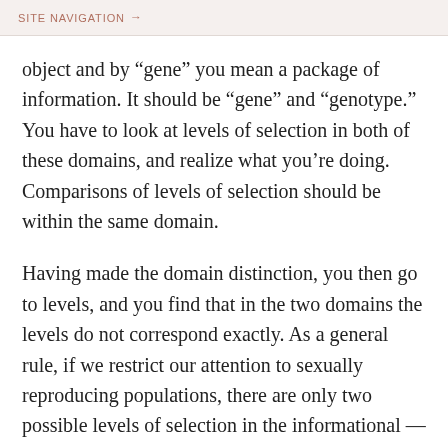SITE NAVIGATION →
object and by “gene” you mean a package of information. It should be “gene” and “genotype.” You have to look at levels of selection in both of these domains, and realize what you’re doing. Comparisons of levels of selection should be within the same domain.
Having made the domain distinction, you then go to levels, and you find that in the two domains the levels do not correspond exactly. As a general rule, if we restrict our attention to sexually reproducing populations, there are only two possible levels of selection in the informational — or what I call the codical — domain: the gene and the gene pool. Selection can operate on alternative genes within a population; selection can act on alternative gene pools